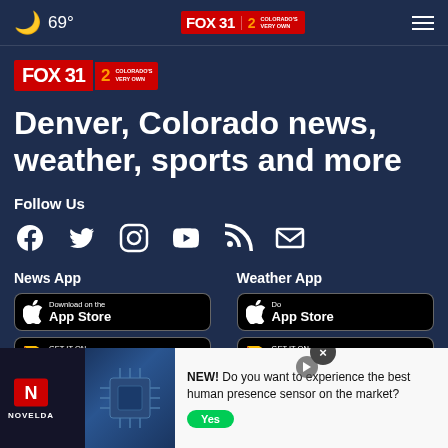69° FOX 31 2 COLORADO'S VERY OWN
[Figure (logo): FOX 31 Colorado's Very Own logo - large version on dark blue background]
Denver, Colorado news, weather, sports and more
Follow Us
[Figure (infographic): Social media icons: Facebook, Twitter, Instagram, YouTube, RSS, Email]
News App
Weather App
[Figure (infographic): App store download buttons for Apple App Store and Google Play for News App and Weather App]
[Figure (infographic): Advertisement overlay: Novelda - NEW! Do you want to experience the best human presence sensor on the market? Yes button]